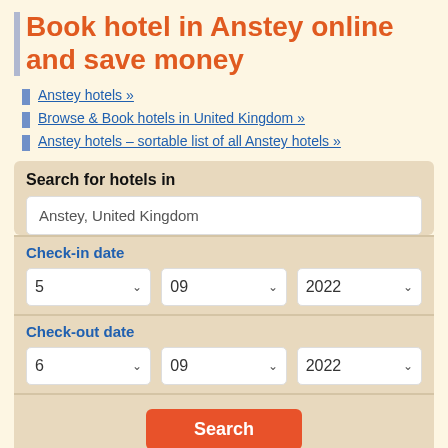Book hotel in Anstey online and save money
Anstey hotels »
Browse & Book hotels in United Kingdom »
Anstey hotels – sortable list of all Anstey hotels »
Search for hotels in
Anstey, United Kingdom
Check-in date
5 / 09 / 2022
Check-out date
6 / 09 / 2022
Search